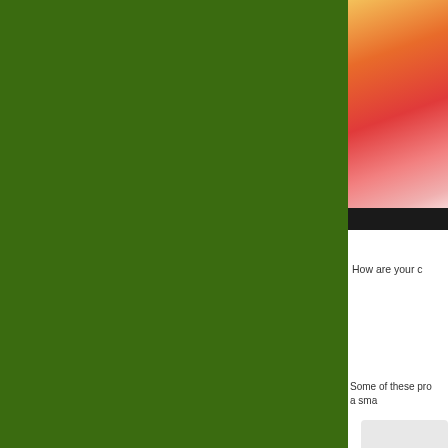[Figure (photo): Green panel occupying the left two-thirds of the page]
[Figure (photo): Colorful illustration or graphic with orange, red, and pink tones, with a black bar at the bottom, partially visible on the right side]
How are your c
Some of these pro a sma
[Figure (photo): Partial image of a rounded rectangle card or UI element at the bottom right]